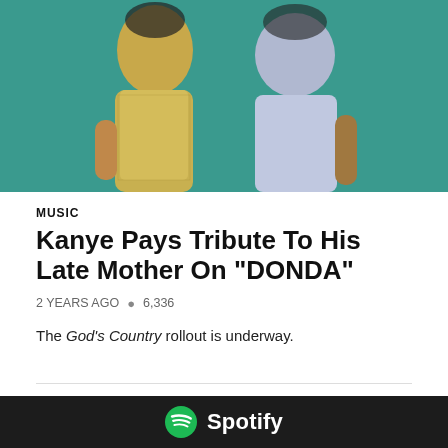[Figure (photo): Two people posing together — a woman in a gold/yellow patterned dress and a man in a light blue/white outfit, against a teal/green background.]
MUSIC
Kanye Pays Tribute To His Late Mother On “DONDA”
2 YEARS AGO  ●  6,336
The God's Country rollout is underway.
[Figure (logo): Spotify logo — white circle with sound wave lines on dark background, with 'Spotify' text in white]